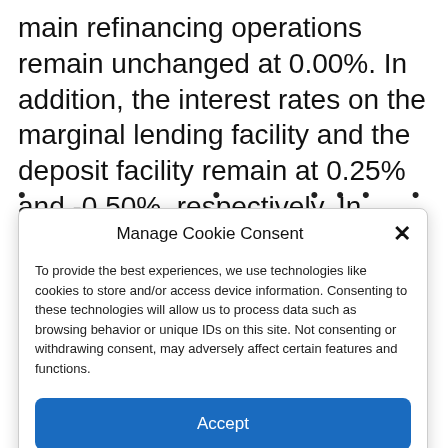main refinancing operations remain unchanged at 0.00%. In addition, the interest rates on the marginal lending facility and the deposit facility remain at 0.25% and -0.50%, respectively. In April, the World Bank also lowered its growth forecast for 2022.
· · ··· · · · · ·
Manage Cookie Consent
To provide the best experiences, we use technologies like cookies to store and/or access device information. Consenting to these technologies will allow us to process data such as browsing behavior or unique IDs on this site. Not consenting or withdrawing consent, may adversely affect certain features and functions.
Accept
Cookie Policy